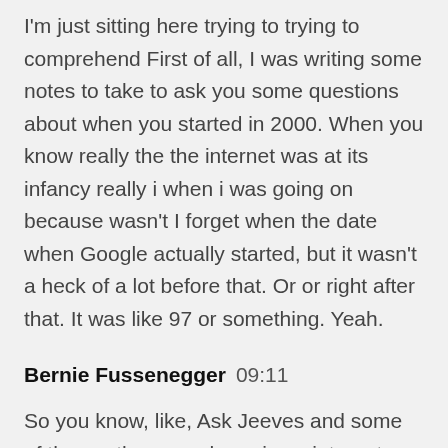I'm just sitting here trying to trying to comprehend First of all, I was writing some notes to take to ask you some questions about when you started in 2000. When you know really the the internet was at its infancy really i when i was going on because wasn't I forget when the date when Google actually started, but it wasn't a heck of a lot before that. Or or right after that. It was like 97 or something. Yeah.
Bernie Fussenegger  09:11
So you know, like, Ask Jeeves and some of these other search engines, internet Yeah, was actually pretty popular in some of the some of the other search engines that were back